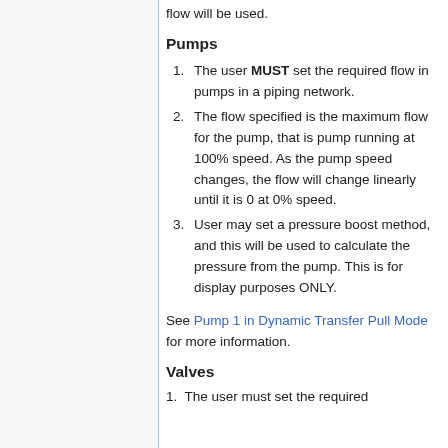flow will be used.
Pumps
The user MUST set the required flow in pumps in a piping network.
The flow specified is the maximum flow for the pump, that is pump running at 100% speed. As the pump speed changes, the flow will change linearly until it is 0 at 0% speed.
User may set a pressure boost method, and this will be used to calculate the pressure from the pump. This is for display purposes ONLY.
See Pump 1 in Dynamic Transfer Pull Mode for more information.
Valves
1. The user must set the required